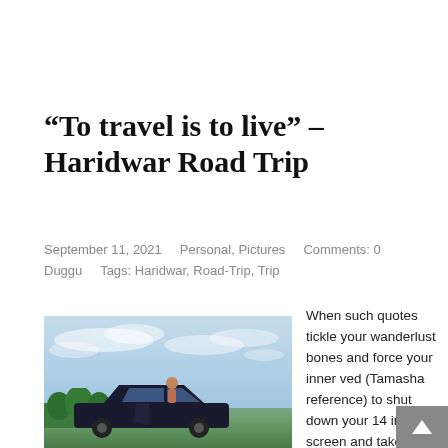“To travel is to live” – Haridwar Road Trip
September 11, 2021    Personal, Pictures    Comments: 0    Duggu    Tags: Haridwar, Road-Trip, Trip
[Figure (photo): A person standing next to a dark car on a road with green trees and a partly cloudy sky in the background.]
When such quotes tickle your wanderlust bones and force your inner ved (Tamasha reference) to shut down your 14 inches screen and take the trip you have been